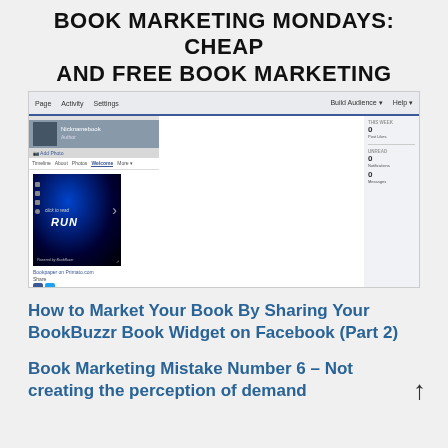BOOK MARKETING MONDAYS: CHEAP AND FREE BOOK MARKETING
[Figure (screenshot): Screenshot of a Facebook author page showing a BookBuzzr book widget with a book cover for 'RUN', navigation tabs (Timeline, About, Photos, Welcome, More), and sidebar stats showing Page Insights with 0 Post Likes, and Unread section.]
How to Market Your Book By Sharing Your BookBuzzr Book Widget on Facebook (Part 2)
Book Marketing Mistake Number 6 – Not creating the perception of demand